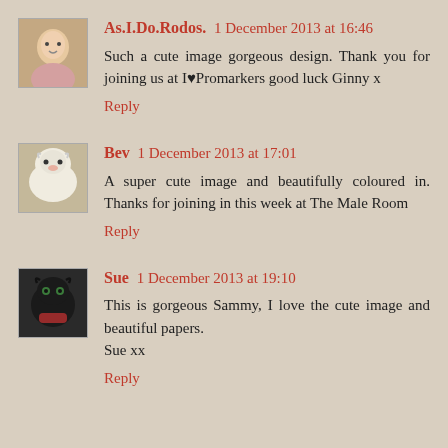[Figure (photo): Small avatar photo of user As.I.Do.Rodos., appears to be a person]
As.I.Do.Rodos. 1 December 2013 at 16:46
Such a cute image gorgeous design. Thank you for joining us at I♥Promarkers good luck Ginny x
Reply
[Figure (photo): Small avatar photo of user Bev, appears to be a white dog]
Bev 1 December 2013 at 17:01
A super cute image and beautifully coloured in. Thanks for joining in this week at The Male Room
Reply
[Figure (photo): Small avatar photo of user Sue, appears to be a black cat]
Sue 1 December 2013 at 19:10
This is gorgeous Sammy, I love the cute image and beautiful papers.
Sue xx
Reply